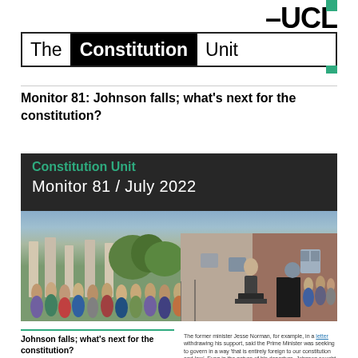[Figure (logo): UCL The Constitution Unit banner logo with black and teal branding]
Monitor 81: Johnson falls; what's next for the constitution?
[Figure (photo): Constitution Unit Monitor 81 / July 2022 cover image showing Boris Johnson at a podium with a crowd of supporters outside 10 Downing Street]
Johnson falls; what's next for the constitution?
The preoccupying question in UK politics over recent months increasingly became when – rather than whether – the Prime Minister would be forced from
The former minister Jesse Norman, for example, in a letter withdrawing his support, said the Prime Minister was seeking to govern in a way 'that is entirely foreign to our constitution and law'. Even in the nature of his departure, Johnson sought to defy the logic of the UK's parliamentary system: claiming a personal mandate more akin to that in a presidential system, seeking to